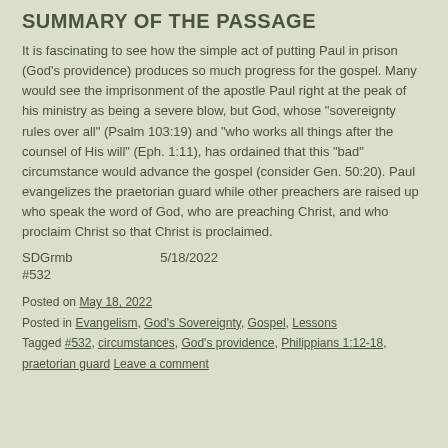SUMMARY OF THE PASSAGE
It is fascinating to see how the simple act of putting Paul in prison (God's providence) produces so much progress for the gospel. Many would see the imprisonment of the apostle Paul right at the peak of his ministry as being a severe blow, but God, whose "sovereignty rules over all" (Psalm 103:19) and "who works all things after the counsel of His will" (Eph. 1:11), has ordained that this "bad" circumstance would advance the gospel (consider Gen. 50:20). Paul evangelizes the praetorian guard while other preachers are raised up who speak the word of God, who are preaching Christ, and who proclaim Christ so that Christ is proclaimed.
SDG    rmb    5/18/2022
#532
Posted on May 18, 2022
Posted in Evangelism, God's Sovereignty, Gospel, Lessons
Tagged #532, circumstances, God's providence, Philippians 1:12-18, praetorian guard Leave a comment